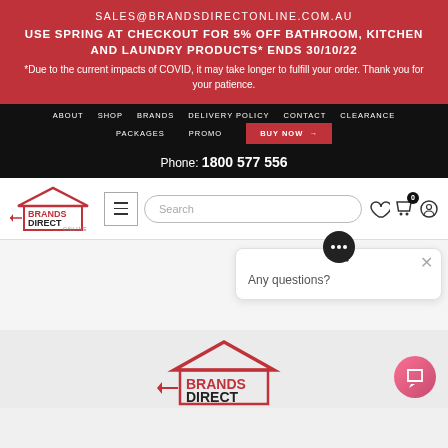SALES@BRANDSDIRECTONLINE.COM.AU
USE SPRING AT CHECKOUT FOR 5% OFF BATHROOM, KITCHEN AND LAUNDRY PRODUCTS* ENDS 30/10/22
*Due to the current impacts of COVID, it may take longer to fulfill your order. Thank you for your patience.
ABOUT  SHOP  BRANDS  DELIVERY POLICY  CONTACT  CLEARANCE  PACKAGES  PROMO  BUY NOW →
Phone: 1800 577 556
[Figure (logo): Brands Direct Online logo — house outline with BRANDS DIRECT in red and ONLINE in grey]
Search
Any questions?
[Figure (logo): Brands Direct Online logo at bottom of page — partial view]